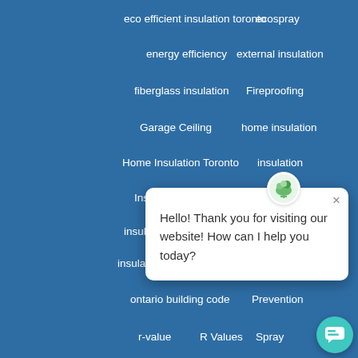eco efficient insulation toronto
ecospray
energy efficiency
external insulation
fiberglass insulation
Fireproofing
Garage Ceiling
home insulation
Home Insulation Toronto
insulation
Insul[ation Removal]
insulation rem[oval]
insulation remov[al]
ontario building code
Prevention
r-value
R Values
Spray
[Figure (screenshot): Chat popup overlay with logo icon, close button (×), and message: Hello! Thank you for visiting our website! How can I help you today?]
[Figure (illustration): Teal circular chat button icon at bottom right corner]